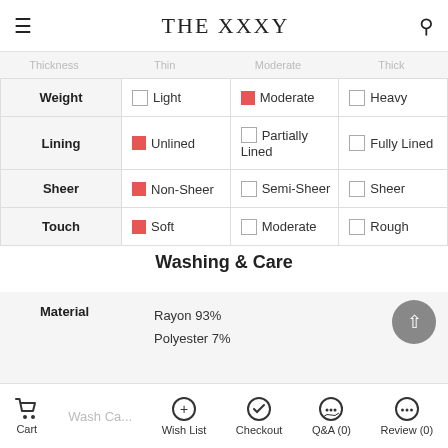THE XXXY
|  | Option 1 | Option 2 | Option 3 |
| --- | --- | --- | --- |
| Weight | ☐ Light | ☑ Moderate | ☐ Heavy |
| Lining | ☑ Unlined | ☐ Partially Lined | ☐ Fully Lined |
| Sheer | ☑ Non-Sheer | ☐ Semi-Sheer | ☐ Sheer |
| Touch | ☑ Soft | ☐ Moderate | ☐ Rough |
Washing & Care
| Material |  |
| --- | --- |
| Material | Rayon 93%
Polyester 7% |
Cart | Wish List | Checkout | Q&A (0) | Review (0)